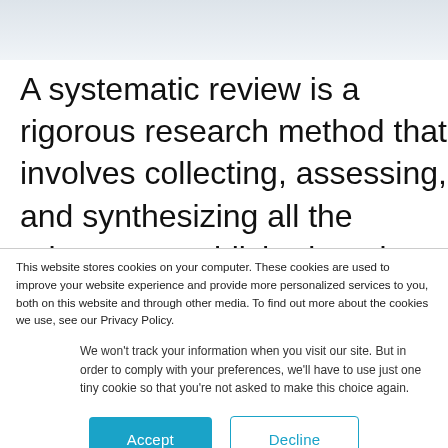A systematic review is a rigorous research method that involves collecting, assessing, and synthesizing all the relevant unpublished, and published literature to answer a
This website stores cookies on your computer. These cookies are used to improve your website experience and provide more personalized services to you, both on this website and through other media. To find out more about the cookies we use, see our Privacy Policy.
We won't track your information when you visit our site. But in order to comply with your preferences, we'll have to use just one tiny cookie so that you're not asked to make this choice again.
Accept
Decline